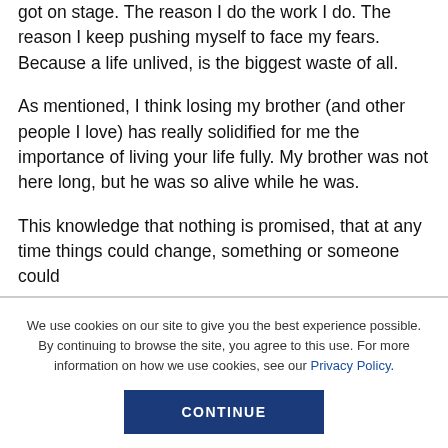got on stage. The reason I do the work I do. The reason I keep pushing myself to face my fears. Because a life unlived, is the biggest waste of all.
As mentioned, I think losing my brother (and other people I love) has really solidified for me the importance of living your life fully. My brother was not here long, but he was so alive while he was.
This knowledge that nothing is promised, that at any time things could change, something or someone could
We use cookies on our site to give you the best experience possible. By continuing to browse the site, you agree to this use. For more information on how we use cookies, see our Privacy Policy.
CONTINUE